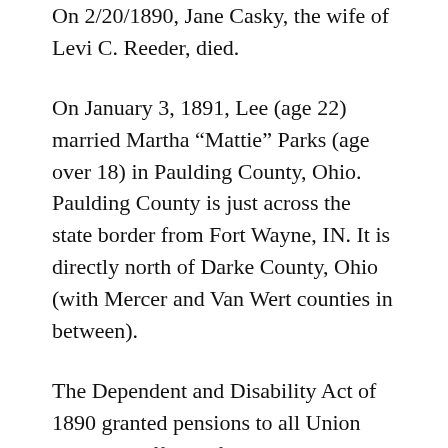On 2/20/1890, Jane Casky, the wife of Levi C. Reeder, died.
On January 3, 1891, Lee (age 22) married Martha “Mattie” Parks (age over 18) in Paulding County, Ohio. Paulding County is just across the state border from Fort Wayne, IN. It is directly north of Darke County, Ohio (with Mercer and Van Wert counties in between).
The Dependent and Disability Act of 1890 granted pensions to all Union veterans suffering from a disability, regardless of the origin of the disability. It awarded between $6 and $12 monthly to recipients, depending on the level of disability. On August 28, 1891 in accordance with the Act, Christina (age 1)